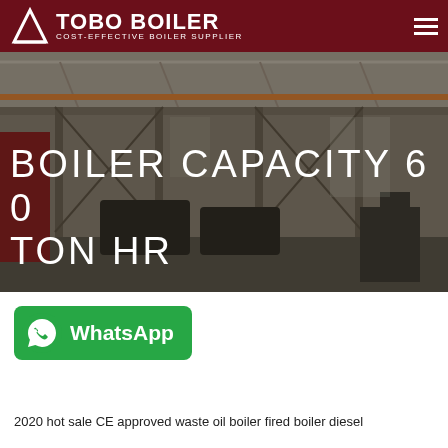TOBO BOILER — COST-EFFECTIVE BOILER SUPPLIER
[Figure (photo): Industrial boiler manufacturing facility interior showing large workshop with steel structures, cranes, and industrial equipment including boiler units on the floor. Overlaid with large white text reading 'BOILER CAPACITY 6 0 TON HR'.]
BOILER CAPACITY 6 0 TON HR
[Figure (logo): WhatsApp button — green rounded rectangle with WhatsApp phone icon and 'WhatsApp' label in white bold text.]
2020 hot sale CE approved waste oil boiler fired boiler diesel